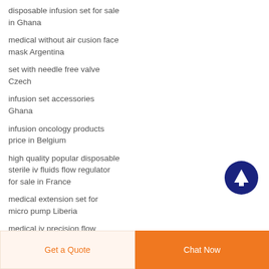disposable infusion set for sale in Ghana
medical without air cusion face mask Argentina
set with needle free valve Czech
infusion set accessories Ghana
infusion oncology products price in Belgium
high quality popular disposable sterile iv fluids flow regulator for sale in France
medical extension set for micro pump Liberia
medical iv precision flow regulator africa